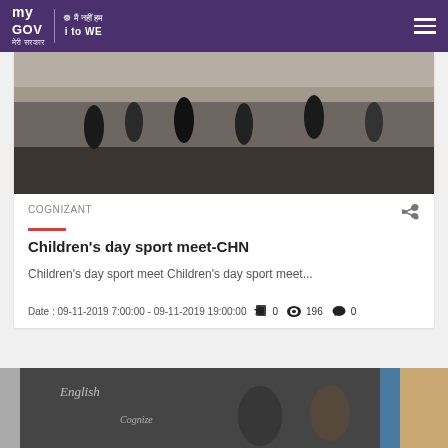myGov मेरी सरकार | मैं नहीं हम i to WE
[Figure (photo): Children running on a playground/sports ground, seen from above, during a sports meet event.]
COGNIZANT
Children's day sport meet-CHN
Children's day sport meet Children's day sport meet...
Date : 09-11-2019 7:00:00 - 09-11-2019 19:00:00   👍 0   👁 196   💬 0
[Figure (photo): Two women standing in front of a blackboard with 'English' and 'Cognizant' written on it.]